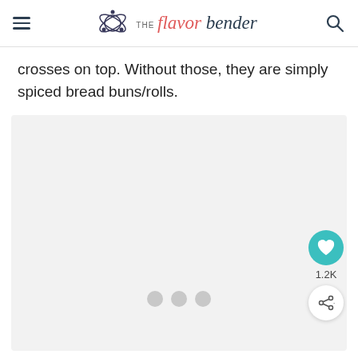THE flavor bender
crosses on top. Without those, they are simply spiced bread buns/rolls.
[Figure (photo): Image placeholder with loading dots indicator and social interaction buttons (heart/like button showing 1.2K and a share button) on the right side]